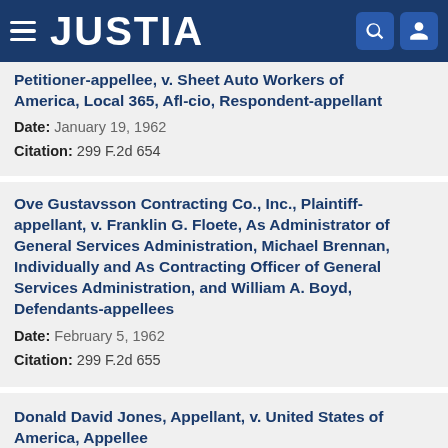JUSTIA
Petitioner-appellee, v. Sheet Auto Workers of America, Local 365, Afl-cio, Respondent-appellant
Date: January 19, 1962
Citation: 299 F.2d 654
Ove Gustavsson Contracting Co., Inc., Plaintiff-appellant, v. Franklin G. Floete, As Administrator of General Services Administration, Michael Brennan, Individually and As Contracting Officer of General Services Administration, and William A. Boyd, Defendants-appellees
Date: February 5, 1962
Citation: 299 F.2d 655
Donald David Jones, Appellant, v. United States of America, Appellee